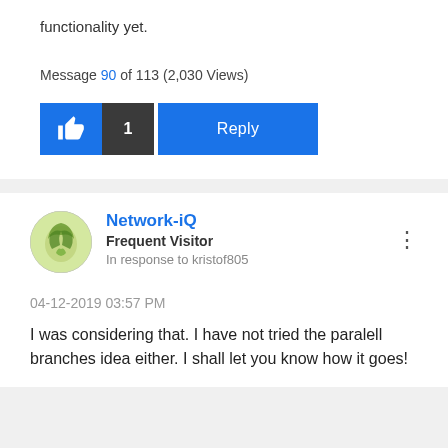functionality yet.
Message 90 of 113 (2,030 Views)
[Figure (other): Like button with thumbs up icon, count badge showing 1, and Reply button]
Network-iQ
Frequent Visitor
In response to kristof805
04-12-2019 03:57 PM
I was considering that. I have not tried the paralell branches idea either. I shall let you know how it goes!